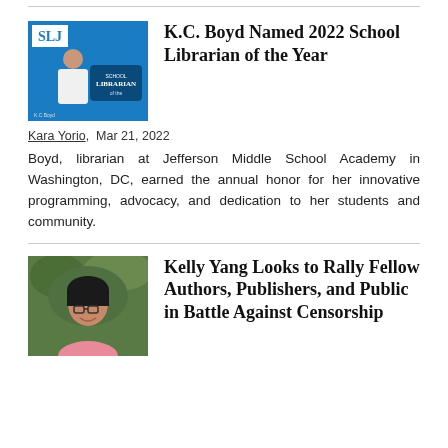[Figure (photo): SLJ magazine cover featuring K.C. Boyd with School Librarian of the Year badge on blue background]
K.C. Boyd Named 2022 School Librarian of the Year
Kara Yorio,  Mar 21, 2022
Boyd, librarian at Jefferson Middle School Academy in Washington, DC, earned the annual honor for her innovative programming, advocacy, and dedication to her students and community.
[Figure (photo): Portrait photo of Kelly Yang, a woman with glasses and dark hair, wearing a pink top, with green foliage in background]
Kelly Yang Looks to Rally Fellow Authors, Publishers, and Public in Battle Against Censorship